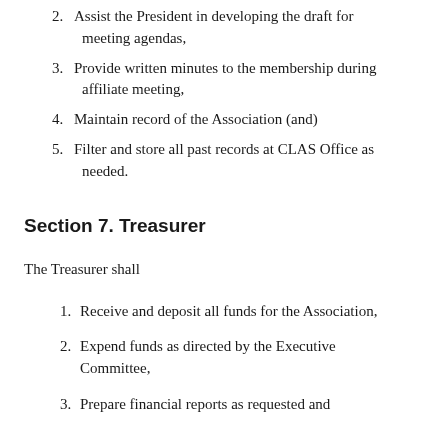2. Assist the President in developing the draft for meeting agendas,
3. Provide written minutes to the membership during affiliate meeting,
4. Maintain record of the Association (and)
5. Filter and store all past records at CLAS Office as needed.
Section 7. Treasurer
The Treasurer shall
1. Receive and deposit all funds for the Association,
2. Expend funds as directed by the Executive Committee,
3. Prepare financial reports as requested and